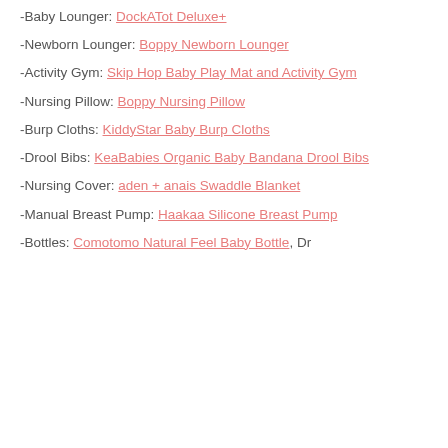-Baby Lounger: DockATot Deluxe+
-Newborn Lounger: Boppy Newborn Lounger
-Activity Gym: Skip Hop Baby Play Mat and Activity Gym
-Nursing Pillow: Boppy Nursing Pillow
-Burp Cloths: KiddyStar Baby Burp Cloths
-Drool Bibs: KeaBabies Organic Baby Bandana Drool Bibs
-Nursing Cover: aden + anais Swaddle Blanket
-Manual Breast Pump: Haakaa Silicone Breast Pump
-Bottles: Comotomo Natural Feel Baby Bottle, Dr